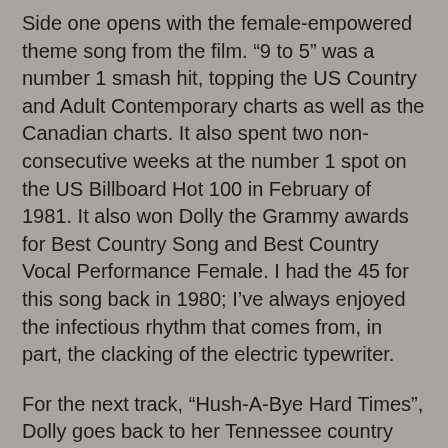Side one opens with the female-empowered theme song from the film. “9 to 5” was a number 1 smash hit, topping the US Country and Adult Contemporary charts as well as the Canadian charts. It also spent two non-consecutive weeks at the number 1 spot on the US Billboard Hot 100 in February of 1981. It also won Dolly the Grammy awards for Best Country Song and Best Country Vocal Performance Female. I had the 45 for this song back in 1980; I’ve always enjoyed the infectious rhythm that comes from, in part, the clacking of the electric typewriter.
For the next track, “Hush-A-Bye Hard Times”, Dolly goes back to her Tennessee country roots. The song has an up-tempo beat even though the lyrics paint the portrait of a family facing hard economic times.
“House of the Rising Sun” was a traditional US folk song about making a living in sinful ways in New Orleans. The Animals had the most successful recording of this song in 1964. Dolly’s cover of this classic tweaks the lyrics a bit and delivers it with a rocking, dance beat. Her touches seemed to work for the song which went to number 14 on the US